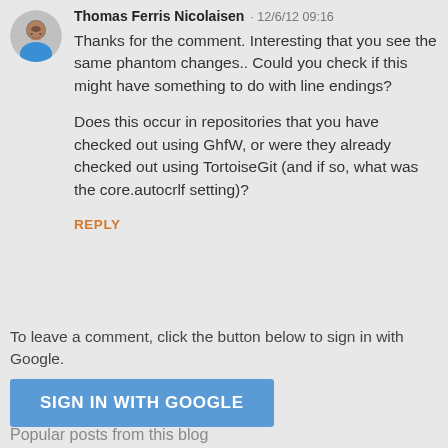[Figure (illustration): Circular avatar photo of Thomas Ferris Nicolaisen, a man with a beard wearing a blue shirt]
Thomas Ferris Nicolaisen · 12/6/12 09:16
Thanks for the comment. Interesting that you see the same phantom changes.. Could you check if this might have something to do with line endings?

Does this occur in repositories that you have checked out using GhfW, or were they already checked out using TortoiseGit (and if so, what was the core.autocrlf setting)?
REPLY
To leave a comment, click the button below to sign in with Google.
SIGN IN WITH GOOGLE
Popular posts from this blog